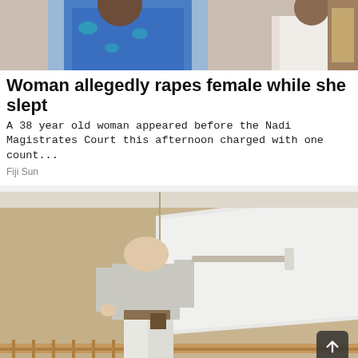[Figure (photo): Partial photo of people, one wearing a blue patterned shirt and one in a white shirt, cropped at the top of the news card]
Woman allegedly rapes female while she slept
A 38 year old woman appeared before the Nadi Magistrates Court this afternoon charged with one count...
Fiji Sun
[Figure (photo): Man with shaved head wearing a light grey t-shirt and white pants painting a beige/tan wall white with a paint roller, viewed from behind. Interior room with wooden railing visible. A small dark scroll-to-top button with an up arrow icon is overlaid in the bottom right.]
Avarage Painter Salary In 2022 Is Just